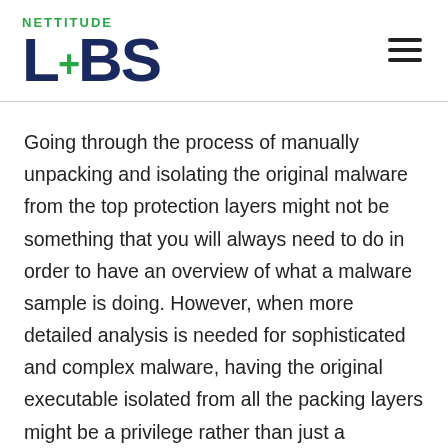[Figure (logo): Nettitude Labs logo — 'NETTITUDE' in green uppercase text above 'LABS' in large dark navy with a green plus sign replacing the letter A]
Going through the process of manually unpacking and isolating the original malware from the top protection layers might not be something that you will always need to do in order to have an overview of what a malware sample is doing. However, when more detailed analysis is needed for sophisticated and complex malware, having the original executable isolated from all the packing layers might be a privilege rather than just a convenience. Keep in mind though, that some malware might check on runtime if